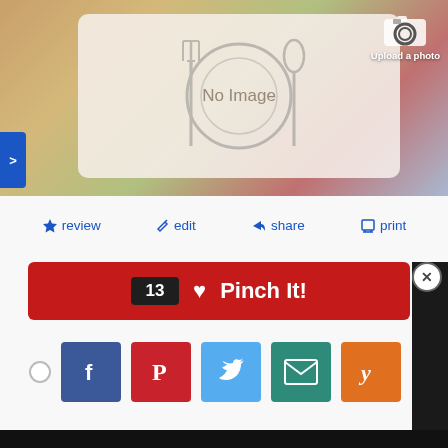[Figure (screenshot): Restaurant page screenshot showing 'No Image' food placeholder with fork, plate, spoon icons, camera upload button, action buttons (review, edit, share, print), Pinch It button with count 13, and social sharing icons (Facebook, Pinterest, Twitter, Email, Yummly)]
Upload a photo
>
review
edit
share
print
13  ♥ Pinch It!